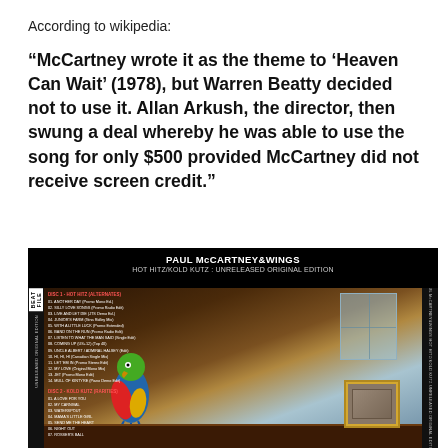According to wikipedia:
“McCartney wrote it as the theme to ‘Heaven Can Wait’ (1978), but Warren Beatty decided not to use it. Allan Arkush, the director, then swung a deal whereby he was able to use the song for only $500 provided McCartney did not receive screen credit.”
[Figure (photo): Album cover/tracklist for Paul McCartney & Wings - Hot Hitz/Kold Kutz: Unreleased Original Edition. Black background with album title at top, tracklist on left side, and album art showing a parrot and a framed photo on a piano/table scene with window in background. Side spines show album title text vertically.]